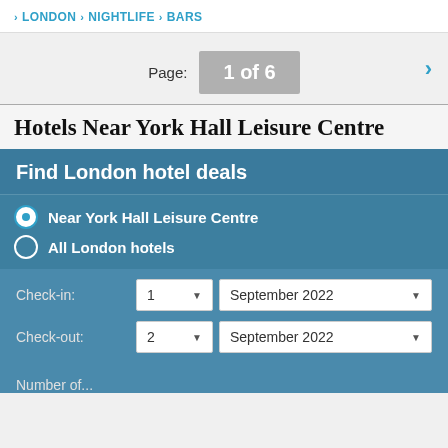LONDON › NIGHTLIFE › BARS
Page: 1 of 6
Hotels Near York Hall Leisure Centre
Find London hotel deals
Near York Hall Leisure Centre
All London hotels
Check-in: 1 September 2022
Check-out: 2 September 2022